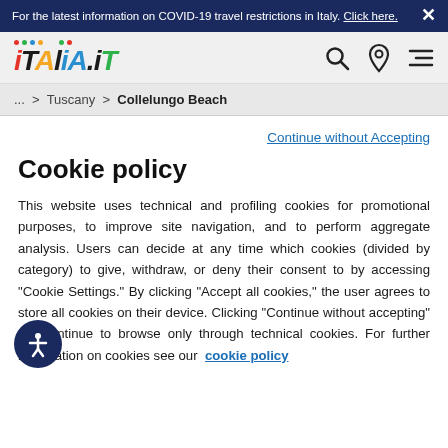For the latest information on COVID-19 travel restrictions in Italy. Click here.
[Figure (logo): italia.it logo with colorful dots above letters]
... > Tuscany > Collelungo Beach
Continue without Accepting
Cookie policy
This website uses technical and profiling cookies for promotional purposes, to improve site navigation, and to perform aggregate analysis. Users can decide at any time which cookies (divided by category) to give, withdraw, or deny their consent to by accessing "Cookie Settings." By clicking "Accept all cookies," the user agrees to store all cookies on their device. Clicking "Continue without accepting" will continue to browse only through technical cookies. For further information on cookies see our cookie policy